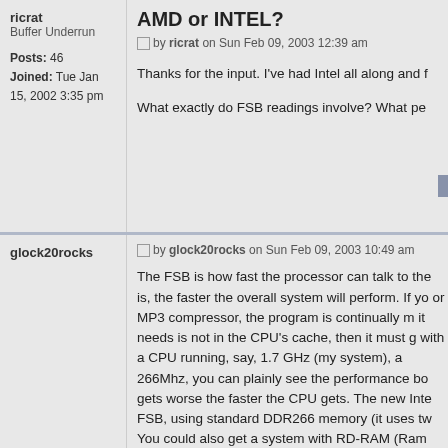AMD or INTEL?
by ricrat on Sun Feb 09, 2003 12:39 am
ricrat
Buffer Underrun

Posts: 46
Joined: Tue Jan 15, 2002 3:35 pm
Thanks for the input. I've had Intel all along and f

What exactly do FSB readings involve? What pe
by glock20rocks on Sun Feb 09, 2003 10:49 am
glock20rocks
The FSB is how fast the processor can talk to the is, the faster the overall system will perform. If yo or MP3 compressor, the program is continually m it needs is not in the CPU's cache, then it must g with a CPU running, say, 1.7 GHz (my system), a 266Mhz, you can plainly see the performance bo gets worse the faster the CPU gets. The new Inte FSB, using standard DDR266 memory (it uses tw You could also get a system with RD-RAM (Ram and not really much faster than the dual-DDR ap
On a side note, note that RD-RAM is clocked *m 1066MHz. However RD-RAM is only 16-bit, while about equal (DDR400 or dual-DDR200=PC800, phasing out RD-RAM, so stick with DDR.